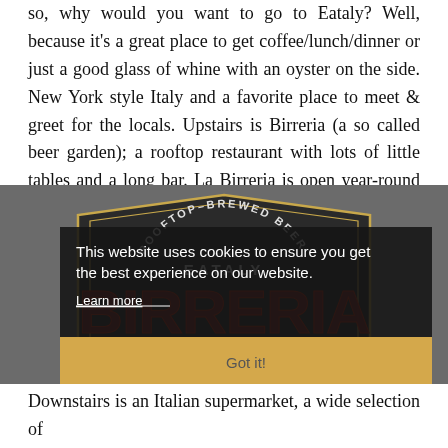so, why would you want to go to Eataly? Well, because it's a great place to get coffee/lunch/dinner or just a good glass of whine with an oyster on the side. New York style Italy and a favorite place to meet & greet for the locals. Upstairs is Birreria (a so called beer garden); a rooftop restaurant with lots of little tables and a long bar. La Birreria is open year-round with a glass-enclosed roof. The lunch we had with Danielle was great, as was the wine.
[Figure (illustration): Birreria at Eataly logo with cookie consent overlay. The logo shows a dark shield/badge shape with text 'ROOFTOP-BREWED BEER only at EATALY' at top, large red letters 'BIRRERIA' in the middle, and 'FIFTH AVENUE & 23RD STREET NEW YORK CITY' at bottom on a tan banner. A cookie notice overlay reads 'This website uses cookies to ensure you get the best experience on our website. Learn more' with a 'Got it!' button.]
Downstairs is an Italian supermarket, a wide selection of